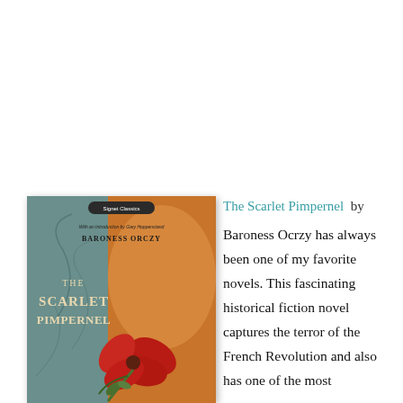[Figure (photo): Book cover of The Scarlet Pimpernel by Baroness Orczy, Signet Classics edition, showing a red flower against an orange and teal background with decorative swirls]
The Scarlet Pimpernel by Baroness Ocrzy has always been one of my favorite novels. This fascinating historical fiction novel captures the terror of the French Revolution and also has one of the most